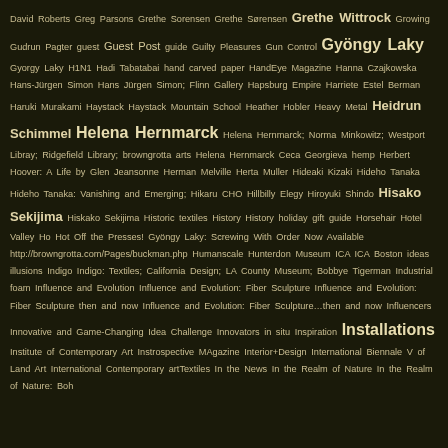David Roberts Greg Parsons Grethe Sorensen Grethe Sørensen Grethe Wittrock Growing Gudrun Pagter guest Guest Post guide Guilty Pleasures Gun Control Gyöngy Laky Gyorgy Laky H1N1 Hadi Tabatabai hand carved paper HandEye Magazine Hanna Czajkowska Hans-Jürgen Simon Hans Jürgen Simon; Flinn Gallery Hapsburg Empire Harriete Estel Berman Haruki Murakami Haystack Haystack Mountain School Heather Hobler Heavy Metal Heidrun Schimmel Helena Hernmarck Helena Hernmarck; Norma Minkowitz; Westport Libray; Ridgefield Library; browngrotta arts Helena Hernmarck Ceca Georgieva hemp Herbert Hoover: A Life by Glen Jeansonne Herman Melville Herta Muller Hideaki Kizaki Hideho Tanaka Hideho Tanaka: Vanishing and Emerging; Hikaru CHO Hillbilly Elegy Hiroyuki Shindo Hisako Sekijima Hiskako Sekijima Historic textiles History History holiday gift guide Horsehair Hotel Valley Ho Hot Off the Presses! Gyöngy Laky: Screwing With Order Now Available http://browngrotta.com/Pages/buckman.php Humanscale Hunterdon Museum ICA ICA Boston ideas illusions Indigo Indigo: Textiles; California Design; LA County Museum; Bobbye Tigerman Industrial foam Influence and Evolution Influence and Evolution: Fiber Sculpture Influence and Evolution: Fiber Sculpture then and now Influence and Evolution: Fiber Sculpture…then and now Influencers Innovative and Game-Changing Idea Challenge Innovators in situ Inspiration Installations Institute of Contemporary Art Instrospective MAgazine Interior+Design International Biennale V of Land Art International Contemporary artTextiles In the News In the Realm of Nature In the Realm of Nature: Boh